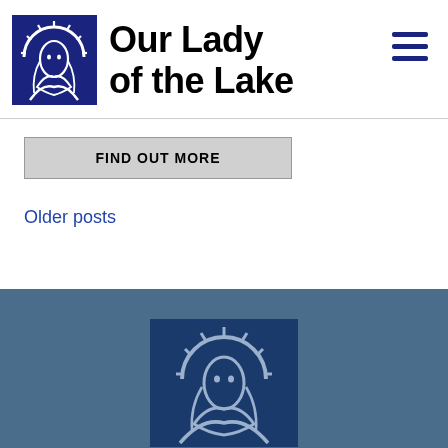Our Lady of the Lake
[Figure (logo): Our Lady of the Lake logo — blue square with stylized Madonna icon in white/outline]
FIND OUT MORE
Older posts
[Figure (logo): Our Lady of the Lake footer logo — blue square with stylized light-blue Madonna icon on steel-blue background]